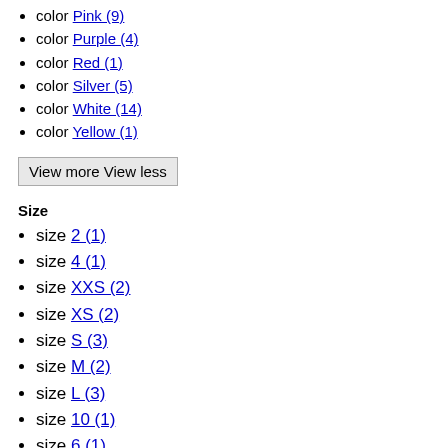color Pink (9)
color Purple (4)
color Red (1)
color Silver (5)
color White (14)
color Yellow (1)
View more View less
Size
size 2 (1)
size 4 (1)
size XXS (2)
size XS (2)
size S (3)
size M (2)
size L (3)
size 10 (1)
size 6 (1)
size 8 (1)
size U (2)
Gender